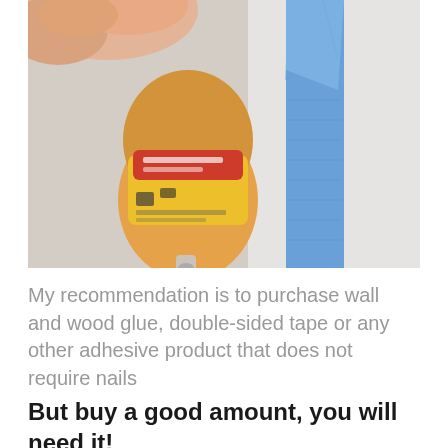[Figure (photo): A close-up photo of a hand holding a small bottle of glue (with yellow and red label) next to a strip of blue painter's tape adhered to a white wall.]
My recommendation is to purchase wall and wood glue, double-sided tape or any other adhesive product that does not require nails
But buy a good amount, you will need it!